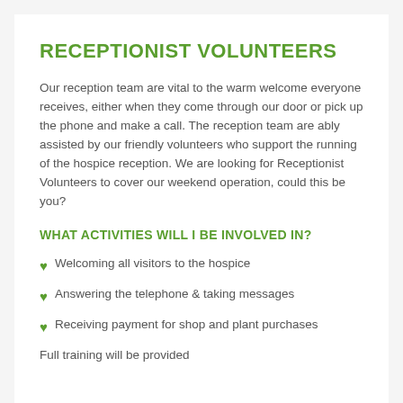RECEPTIONIST VOLUNTEERS
Our reception team are vital to the warm welcome everyone receives, either when they come through our door or pick up the phone and make a call. The reception team are ably assisted by our friendly volunteers who support the running of the hospice reception. We are looking for Receptionist Volunteers to cover our weekend operation, could this be you?
WHAT ACTIVITIES WILL I BE INVOLVED IN?
Welcoming all visitors to the hospice
Answering the telephone & taking messages
Receiving payment for shop and plant purchases
Full training will be provided